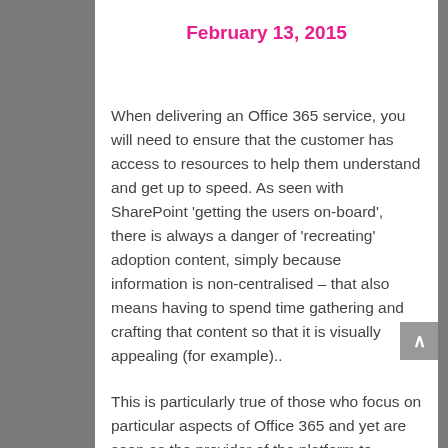February 13, 2015
When delivering an Office 365 service, you will need to ensure that the customer has access to resources to help them understand and get up to speed. As seen with SharePoint ‘getting the users on-board’, there is always a danger of ‘recreating’ adoption content, simply because information is non-centralised – that also means having to spend time gathering and crafting that content so that it is visually appealing (for example)..
This is particularly true of those who focus on particular aspects of Office 365 and yet are seen as the provider of the platform to customers. Part of delivering an Office 365 service is to ensure that the customer understands how Office 365 can help people work on